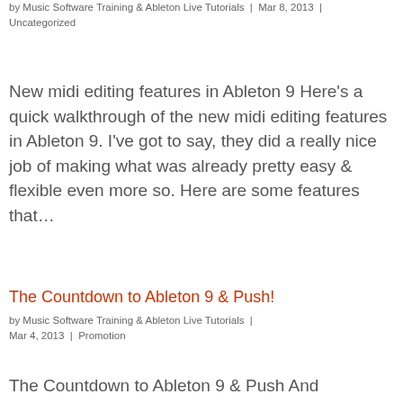by Music Software Training & Ableton Live Tutorials | Mar 8, 2013 | Uncategorized
New midi editing features in Ableton 9 Here's a quick walkthrough of the new midi editing features in Ableton 9. I've got to say, they did a really nice job of making what was already pretty easy & flexible even more so. Here are some features that…
The Countdown to Ableton 9 & Push!
by Music Software Training & Ableton Live Tutorials | Mar 4, 2013 | Promotion
The Countdown to Ableton 9 & Push And